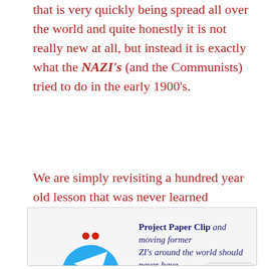that is very quickly being spread all over the world and quite honestly it is not really new at all, but instead it is exactly what the NAZI's (and the Communists) tried to do in the early 1900's.
We are simply revisiting a hundred year old lesson that was never learned properly, and has now come up a second time because it did not get resolved the first time around.
Project Paper Clip and moving former ZI's around the world should never have a ur because all this did force this horrible lesson to come back to haunt all of humanity for a second time.